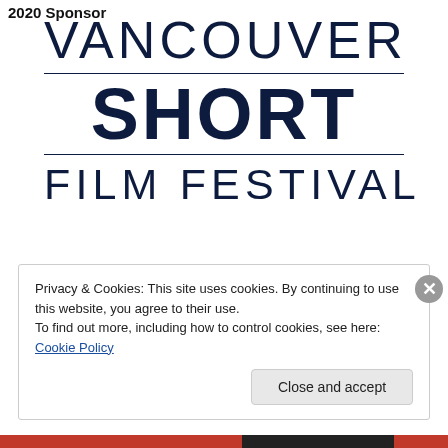2020 Sponsor
[Figure (logo): Vancouver Short Film Festival logo — text-based logo with 'VANCOUVER' in thin capitals, a horizontal rule, 'SHORT' in very bold large type, another horizontal rule, and 'FILM FESTIVAL' in medium caps, all in dark navy blue.]
Privacy & Cookies: This site uses cookies. By continuing to use this website, you agree to their use.
To find out more, including how to control cookies, see here: Cookie Policy
Close and accept